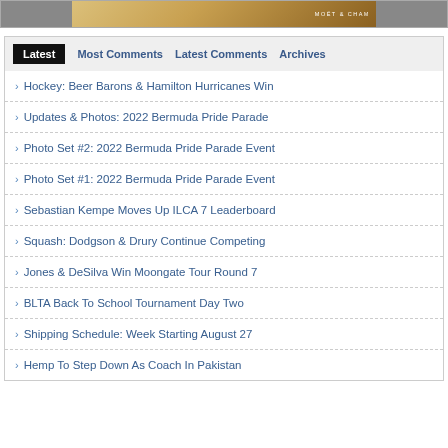[Figure (photo): Partial top image showing a bottle with MOET & CHANDON label]
Hockey: Beer Barons & Hamilton Hurricanes Win
Updates & Photos: 2022 Bermuda Pride Parade
Photo Set #2: 2022 Bermuda Pride Parade Event
Photo Set #1: 2022 Bermuda Pride Parade Event
Sebastian Kempe Moves Up ILCA 7 Leaderboard
Squash: Dodgson & Drury Continue Competing
Jones & DeSilva Win Moongate Tour Round 7
BLTA Back To School Tournament Day Two
Shipping Schedule: Week Starting August 27
Hemp To Step Down As Coach In Pakistan